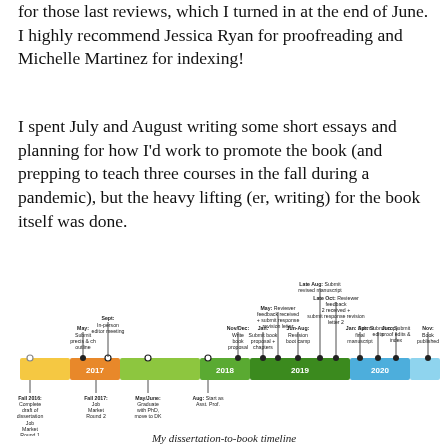for those last reviews, which I turned in at the end of June. I highly recommend Jessica Ryan for proofreading and Michelle Martinez for indexing!
I spent July and August writing some short essays and planning for how I'd work to promote the book (and prepping to teach three courses in the fall during a pandemic), but the heavy lifting (er, writing) for the book itself was done.
[Figure (infographic): A horizontal timeline from Fall 2016 to Nov 2020 showing the dissertation-to-book process. Colored bands represent years: yellow (2016-early 2017), orange (2017), green (2018), dark green (2019), blue (2020), light blue (post-2020). Key milestones are annotated above and below the timeline bar.]
My dissertation-to-book timeline